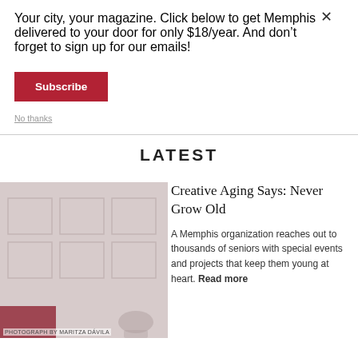Your city, your magazine. Click below to get Memphis delivered to your door for only $18/year. And don’t forget to sign up for our emails!
Subscribe
No thanks
LATEST
[Figure (photo): Faded reddish-toned photograph of seniors engaged in a creative activity, building facade visible in background]
PHOTOGRAPH BY MARITZA DÁVILA
Creative Aging Says: Never Grow Old
A Memphis organization reaches out to thousands of seniors with special events and projects that keep them young at heart. Read more